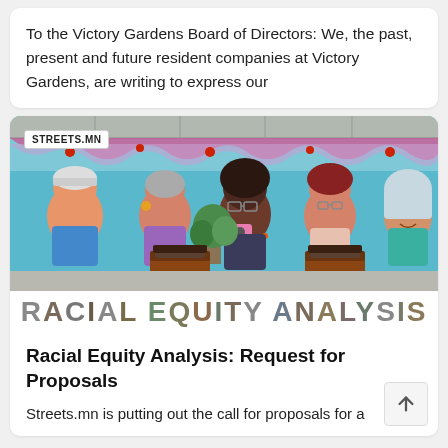To the Victory Gardens Board of Directors: We, the past, present and future resident companies at Victory Gardens, are writing to express our
[Figure (photo): A colorful mural showing five diverse women painted on a wall, with planters in front. The mural features floral decorations above. A STREETS.MN badge appears in the upper left. Below the mural photo is large text reading RACIAL EQUITY ANALYSIS.]
Racial Equity Analysis: Request for Proposals
Streets.mn is putting out the call for proposals for a